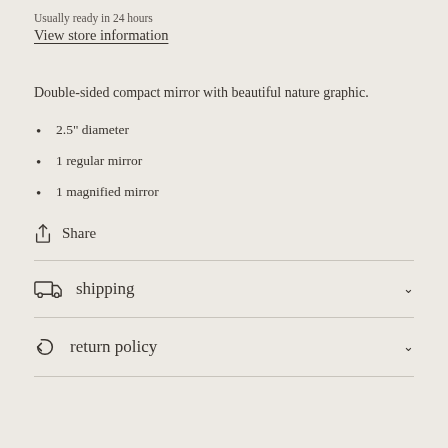Usually ready in 24 hours
View store information
Double-sided compact mirror with beautiful nature graphic.
2.5" diameter
1 regular mirror
1 magnified mirror
Share
shipping
return policy